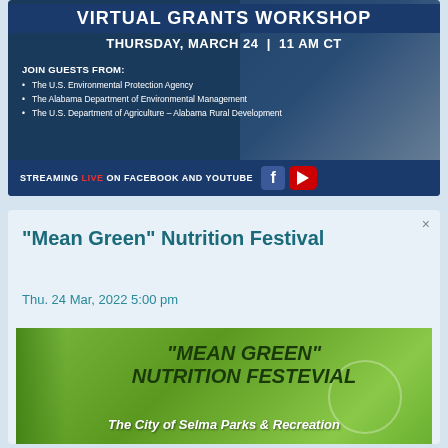[Figure (infographic): Virtual Grants Workshop banner - Thursday, March 24 11 AM CT. Join guests from: The U.S. Environmental Protection Agency, The Alabama Department of Environmental Management, The U.S. Department of Agriculture - Alabama Rural Development. Streaming LIVE on Facebook and YouTube.]
"Mean Green" Nutrition Festival
Thu. 24 Mar, 2022 5:00 pm
[Figure (photo): Mean Green Nutrition Festevial promotional image with green background showing asparagus. Text reads: "MEAN GREEN" NUTRITION FESTEVIAL - The City of Selma Parks & Recreation]